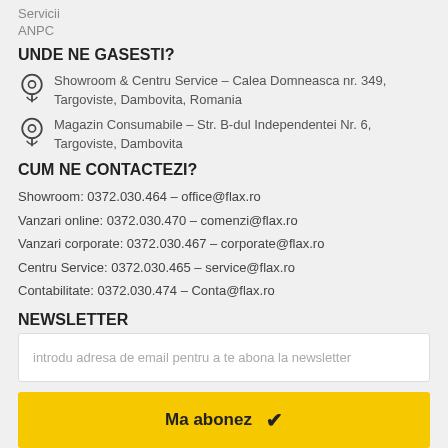Servicii
ANPC
UNDE NE GASESTI?
Showroom & Centru Service – Calea Domneasca nr. 349, Targoviste, Dambovita, Romania
Magazin Consumabile – Str. B-dul Independentei Nr. 6, Targoviste, Dambovita
CUM NE CONTACTEZI?
Showroom: 0372.030.464 – office@flax.ro
Vanzari online: 0372.030.470 – comenzi@flax.ro
Vanzari corporate: 0372.030.467 – corporate@flax.ro
Centru Service: 0372.030.465 – service@flax.ro
Contabilitate: 0372.030.474 – Conta@flax.ro
NEWSLETTER
introdu adresa de email pentru a te abona la newsletter
Ma abonez ✓